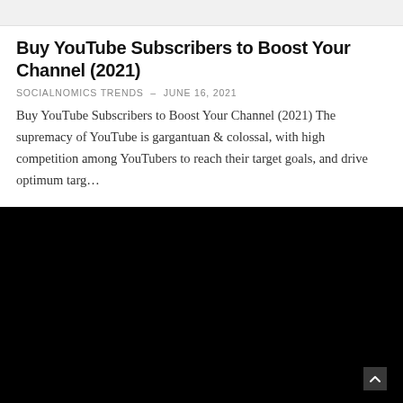Buy YouTube Subscribers to Boost Your Channel (2021)
SOCIALNOMICS TRENDS – JUNE 16, 2021
Buy YouTube Subscribers to Boost Your Channel (2021) The supremacy of YouTube is gargantuan & colossal, with high competition among YouTubers to reach their target goals, and drive optimum targ…
[Figure (other): Black video player embed area]